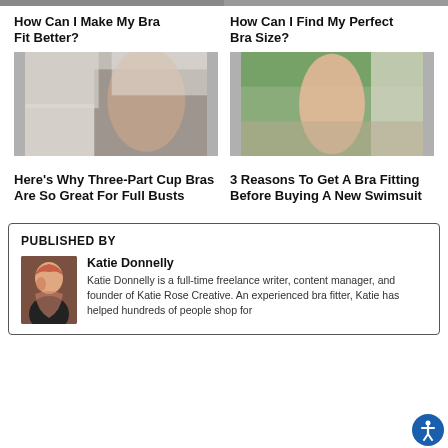[Figure (photo): Top strip showing partial images of models]
How Can I Make My Bra Fit Better?
How Can I Find My Perfect Bra Size?
[Figure (photo): Woman in black bra and underwear sitting in bedroom]
[Figure (photo): Woman in pink swimsuit posing outdoors]
Here's Why Three-Part Cup Bras Are So Great For Full Busts
3 Reasons To Get A Bra Fitting Before Buying A New Swimsuit
PUBLISHED BY
Katie Donnelly
Katie Donnelly is a full-time freelance writer, content manager, and founder of Katie Rose Creative. An experienced bra fitter, Katie has helped hundreds of people shop for